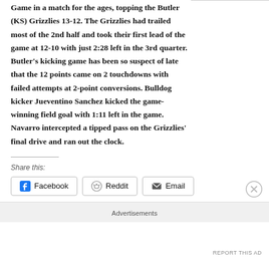Game in a match for the ages, topping the Butler (KS) Grizzlies 13-12. The Grizzlies had trailed most of the 2nd half and took their first lead of the game at 12-10 with just 2:28 left in the 3rd quarter. Butler's kicking game has been so suspect of late that the 12 points came on 2 touchdowns with failed attempts at 2-point conversions. Bulldog kicker Jueventino Sanchez kicked the game-winning field goal with 1:11 left in the game. Navarro intercepted a tipped pass on the Grizzlies' final drive and ran out the clock.
Share this:
Facebook  Reddit  Email
Advertisements